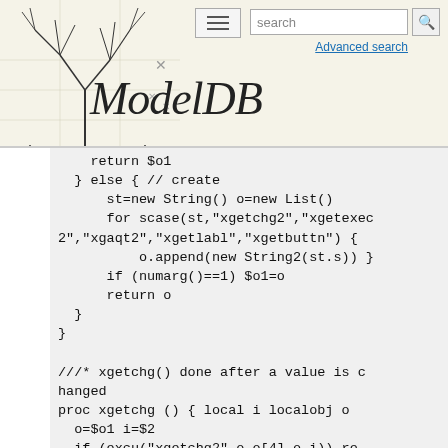ModelDB — website header with search and navigation
return $o1
  } else { // create
      st=new String() o=new List()
      for scase(st,"xgetchg2","xgetexec2","xgaqt2","xgetlabl","xgetbuttn") {
          o.append(new String2(st.s)) }
      if (numarg()==1) $o1=o
      return o
  }
}

///* xgetchg() done after a value is changed
proc xgetchg () { local i localobj o
  o=$o1 i=$2
  if (excu("xgetchg2",o.o[4],o,i)) return
  sprint(o.u,"Press '%s' button for effect",o.s)
}